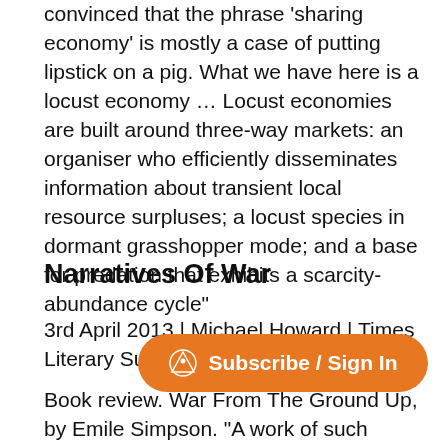convinced that the phrase 'sharing economy' is mostly a case of putting lipstick on a pig. What we have here is a locust economy … Locust economies are built around three-way markets: an organiser who efficiently disseminates information about transient local resource surpluses; a locust species in dormant grasshopper mode; and a base for predation that exhibits a scarcity-abundance cycle"
Narratives Of War
3rd April 2013 | Michael Howard | Times Literary Supplement
Book review. War From The Ground Up, by Emile Simpson. "A work of such i compulsory reading at ever style is so muscular and aphoristic that he can